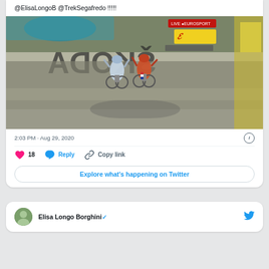@ElisaLongoB @TrekSegafredo !!!!!
[Figure (photo): Aerial/top-down view of two cyclists crossing finish line, one in blue/white kit, one in orange/red kit, large signage visible, Tour de France style broadcast overlay with yellow logo]
2:03 PM · Aug 29, 2020
18  Reply  Copy link
Explore what's happening on Twitter
Elisa Longo Borghini